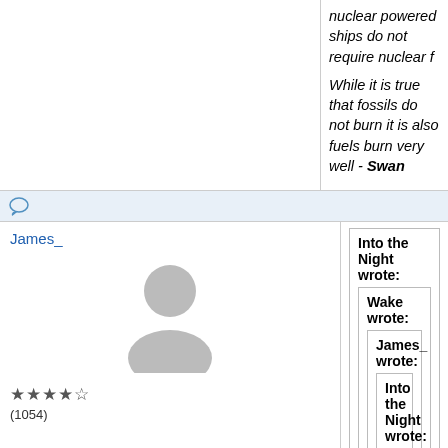nuclear powered ships do not require nuclear f
While it is true that fossils do not burn it is also fuels burn very well - Swan
James_
[Figure (illustration): Generic user avatar silhouette in grey]
★★★★☆ (1054)
Into the Night wrote: Wake wrote: James_ wrote: Into the Night wrote: Newton allowed for momentum transfer. It is part the effects of hi equation F=mA. Now to correct your bad physics: The Earth is not slowing it's rotat (and the Moon gaining in orbital altitude) due to gravity. It is slowi due to drag.